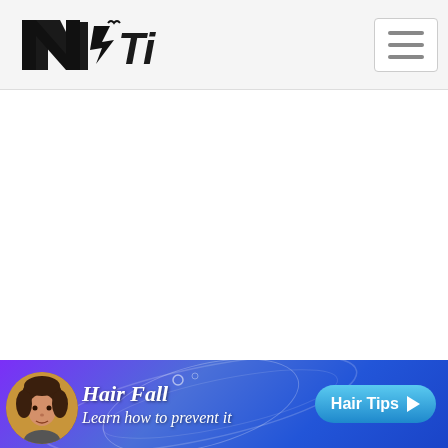NTI logo and navigation menu button
[Figure (logo): NTI brand logo — stylized N with lightning bolt and arrow, bold italic black lettering with 'NTI' text]
[Figure (infographic): Hair Fall advertisement banner with purple-blue gradient background, avatar of a person with hair, decorative swirls, text 'Hair Fall Learn how to prevent it' and a 'Hair Tips ▶' button]